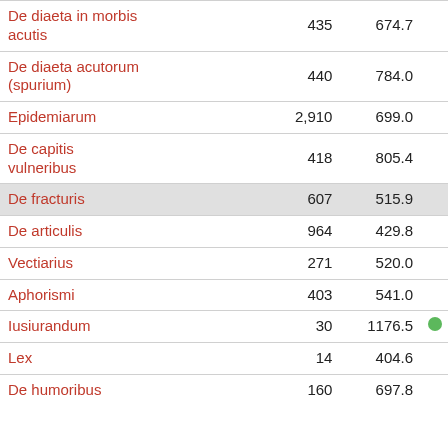|  |  |  |  |
| --- | --- | --- | --- |
| De diaeta in morbis acutis | 435 | 674.7 |  |
| De diaeta acutorum (spurium) | 440 | 784.0 |  |
| Epidemiarum | 2,910 | 699.0 |  |
| De capitis vulneribus | 418 | 805.4 |  |
| De fracturis | 607 | 515.9 |  |
| De articulis | 964 | 429.8 |  |
| Vectiarius | 271 | 520.0 |  |
| Aphorismi | 403 | 541.0 |  |
| Iusiurandum | 30 | 1176.5 | ● |
| Lex | 14 | 404.6 |  |
| De humoribus | 160 | 697.8 |  |